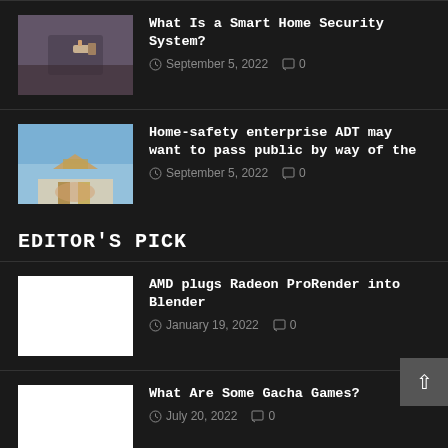[Figure (photo): Hand holding keys near a door lock]
What Is a Smart Home Security System?
September 5, 2022   0
[Figure (photo): Hands holding a small house model with sky background]
Home-safety enterprise ADT may want to pass public by way of the
September 5, 2022   0
EDITOR'S PICK
[Figure (photo): White placeholder image]
AMD plugs Radeon ProRender into Blender
January 19, 2022   0
[Figure (photo): White placeholder image]
What Are Some Gacha Games?
July 20, 2022   0